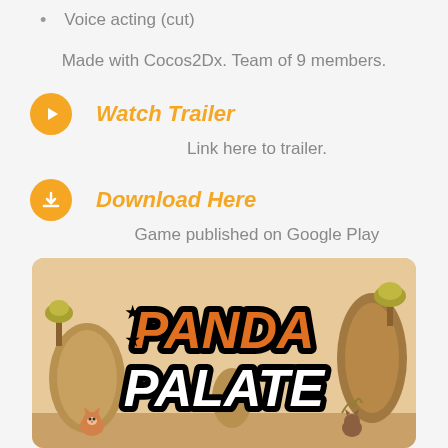Voice acting (cut)
Made with Cocos2Dx. Team of 9 members.
Watch Trailer
Link here to trailer.
Download Here
Game published on Google Play
[Figure (illustration): Panda Palate game title screen showing orange and white bold logo text 'PANDA PALATE' with star symbols, set against a cartoon desert landscape with rock formations and a small fox/cat character at the bottom.]